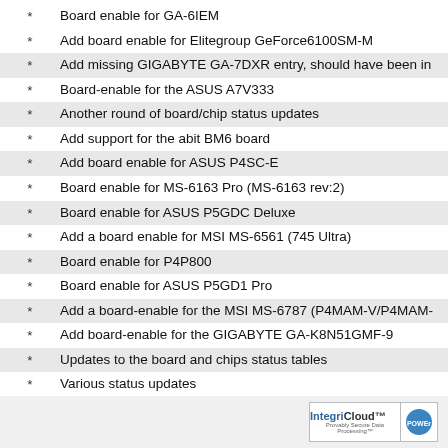Board enable for GA-6IEM
Add board enable for Elitegroup GeForce6100SM-M
Add missing GIGABYTE GA-7DXR entry, should have been in
Board-enable for the ASUS A7V333
Another round of board/chip status updates
Add support for the abit BM6 board
Add board enable for ASUS P4SC-E
Board enable for MS-6163 Pro (MS-6163 rev:2)
Board enable for ASUS P5GDC Deluxe
Add a board enable for MSI MS-6561 (745 Ultra)
Board enable for P4P800
Board enable for ASUS P5GD1 Pro
Add a board-enable for the MSI MS-6787 (P4MAM-V/P4MAM-
Add board-enable for the GIGABYTE GA-K8N51GMF-9
Updates to the board and chips status tables
Various status updates
Add Intel Gigabit NIC SPI flashing support
Add board enable for Asus P2B-N
Add board enable for Abit VA6
[prev]   [next]
IntegriCloud POWERED